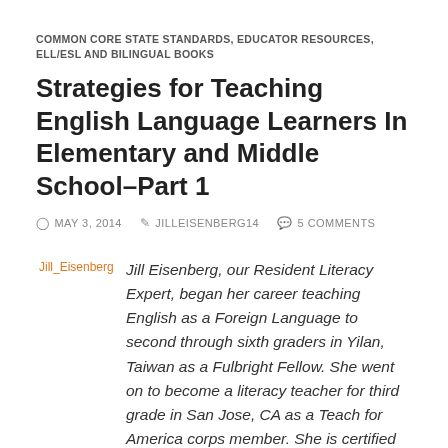COMMON CORE STATE STANDARDS, EDUCATOR RESOURCES, ELL/ESL AND BILINGUAL BOOKS
Strategies for Teaching English Language Learners In Elementary and Middle School–Part 1
MAY 3, 2014   JILLEISENBERG14   5 COMMENTS
[Figure (photo): Placeholder image for Jill Eisenberg author photo]
Jill Eisenberg, our Resident Literacy Expert, began her career teaching English as a Foreign Language to second through sixth graders in Yilan, Taiwan as a Fulbright Fellow. She went on to become a literacy teacher for third grade in San Jose, CA as a Teach for America corps member. She is certified in Project Glad instruction to promote English language acquisition and academic achievement. In her column she offers teaching and literacy tips for educators.